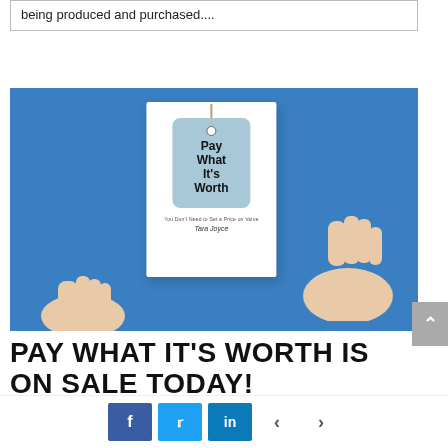being produced and purchased....
[Figure (photo): Hands holding a white book card with a light blue price tag reading 'Pay What It's Worth' by Tara Joyce, on a blue background]
PAY WHAT IT'S WORTH IS ON SALE TODAY!